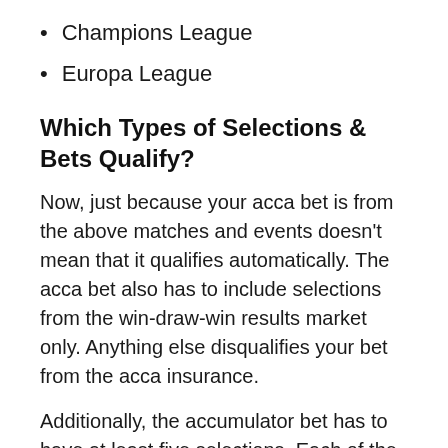Champions League
Europa League
Which Types of Selections & Bets Qualify?
Now, just because your acca bet is from the above matches and events doesn't mean that it qualifies automatically. The acca bet also has to include selections from the win-draw-win results market only. Anything else disqualifies your bet from the acca insurance.
Additionally, the accumulator bet has to have at least five selections. Each of the selections has to have a 1/5 odd or greater. Last but not least, only the pre match